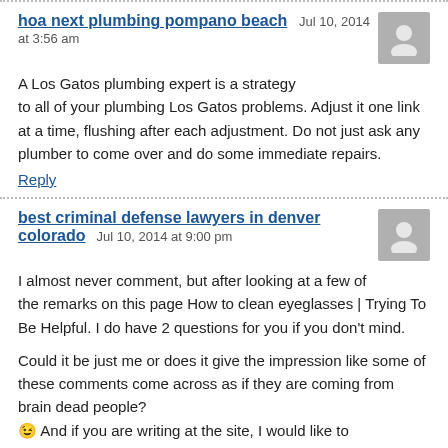hoa next plumbing pompano beach   Jul 10, 2014 at 3:56 am
A Los Gatos plumbing expert is a strategy to all of your plumbing Los Gatos problems. Adjust it one link at a time, flushing after each adjustment. Do not just ask any plumber to come over and do some immediate repairs.
Reply
best criminal defense lawyers in denver colorado   Jul 10, 2014 at 9:00 pm
I almost never comment, but after looking at a few of the remarks on this page How to clean eyeglasses | Trying To Be Helpful. I do have 2 questions for you if you don't mind.
Could it be just me or does it give the impression like some of these comments come across as if they are coming from brain dead people? 😉 And if you are writing at the site, I would like to